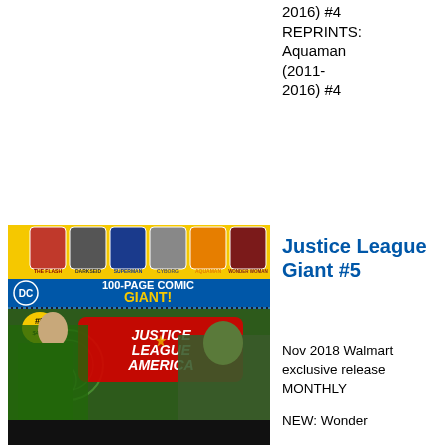2016) #4 REPRINTS: Aquaman (2011-2016) #4
[Figure (illustration): Comic book cover for Justice League Giant #5, a DC 100-Page Comic Giant featuring Justice League of America. Shows Green Lantern fighting a villain on the cover. Price tag shows #5 $4.99. Character portraits along the top: The Flash, Darkseid, Superman, Cyborg, Aquaman, Wonder Woman.]
Justice League Giant #5
Nov 2018 Walmart exclusive release MONTHLY
NEW: Wonder